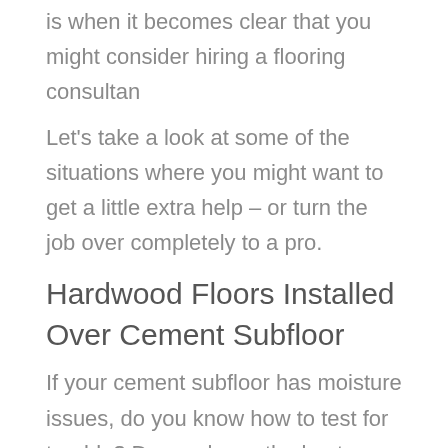is when it becomes clear that you might consider hiring a flooring consultan
Let's take a look at some of the situations where you might want to get a little extra help – or turn the job over completely to a pro.
Hardwood Floors Installed Over Cement Subfloor
If your cement subfloor has moisture issues, do you know how to test for trouble? Do you know the best way to seal the subfloor? Which sealers will work together with a flooring adhesive? Do you want – or need – to utilize a